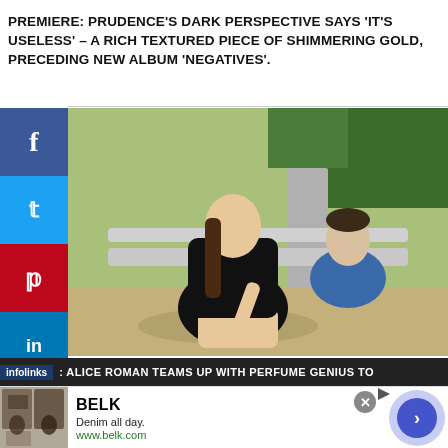PREMIERE: PRUDENCE'S DARK PERSPECTIVE SAYS 'IT'S USELESS' – A RICH TEXTURED PIECE OF SHIMMERING GOLD, PRECEDING NEW ALBUM 'NEGATIVES'.
[Figure (photo): Two people sitting on a bench outdoors. A woman in a black dress with long hair sits in the foreground; a young man in a blue shirt sits behind her. Sunny outdoor park/path setting.]
infolinks : ALICE ROMAN TEAMS UP WITH PERFUME GENIUS TO
[Figure (infographic): Advertisement banner for Belk department store. Shows book covers on left, BELK brand name, tagline 'Denim all day.' and URL www.belk.com, with a blue circular arrow button on the right.]